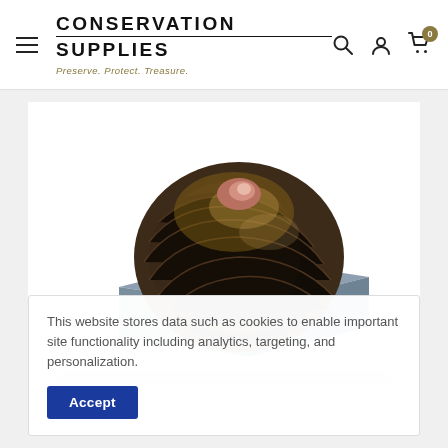CONSERVATION SUPPLIES — Preserve. Protect. Treasure.
[Figure (photo): A large dark brown spiral shell (snail shell) resting on top of a grey/blue archival box against a white background. The shell has ribbed texture and a pinkish apex.]
This website stores data such as cookies to enable important site functionality including analytics, targeting, and personalization.
Accept